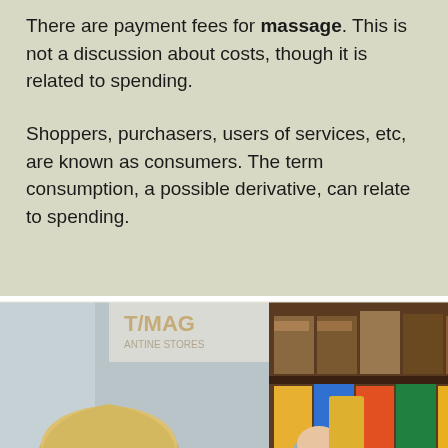There are payment fees for massage. This is not a discussion about costs, though it is related to spending.
Shoppers, purchasers, users of services, etc, are known as consumers. The term consumption, a possible derivative, can relate to spending.
[Figure (photo): A woman with blonde hair wearing a light blue top, shopping in a grocery store aisle, reaching up to look at a product on a shelf stocked with various packaged goods.]